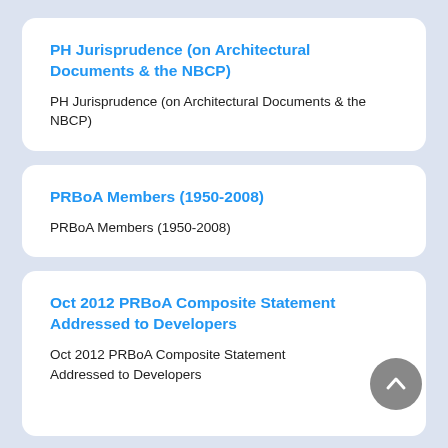PH Jurisprudence (on Architectural Documents & the NBCP)
PH Jurisprudence (on Architectural Documents & the NBCP)
PRBoA Members (1950-2008)
PRBoA Members (1950-2008)
Oct 2012 PRBoA Composite Statement Addressed to Developers
Oct 2012 PRBoA Composite Statement Addressed to Developers